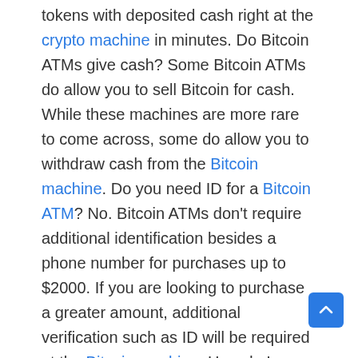tokens with deposited cash right at the crypto machine in minutes. Do Bitcoin ATMs give cash? Some Bitcoin ATMs do allow you to sell Bitcoin for cash. While these machines are more rare to come across, some do allow you to withdraw cash from the Bitcoin machine. Do you need ID for a Bitcoin ATM? No. Bitcoin ATMs don't require additional identification besides a phone number for purchases up to $2000. If you are looking to purchase a greater amount, additional verification such as ID will be required at the Bitcoin machine. How do I deposit money into a Bitcoin ATM? Here's the general process at most Bitcoin ATMs: Verify your identity by inputting your phone number or other identification. Provide your bitcoin address for deposit. Insert your fiat money into the Bitcoin ATM one bill at a time. Confirm the amount and complete your transaction. How much money can you withdraw from Bitcoin ATM? Of the many types of Bitcoin ATMs, the most common only permit you buy Bitcoin, although some do also allow you to sell. Bitcoin ATMs usually